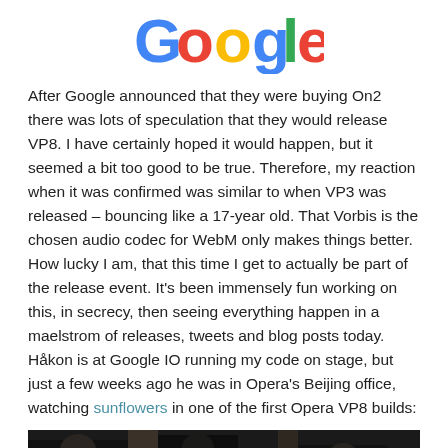[Figure (logo): Google logo in multicolor (blue, red, yellow, blue, green, red letters)]
After Google announced that they were buying On2 there was lots of speculation that they would release VP8. I have certainly hoped it would happen, but it seemed a bit too good to be true. Therefore, my reaction when it was confirmed was similar to when VP3 was released – bouncing like a 17-year old. That Vorbis is the chosen audio codec for WebM only makes things better. How lucky I am, that this time I get to actually be part of the release event. It's been immensely fun working on this, in secrecy, then seeing everything happen in a maelstrom of releases, tweets and blog posts today. Håkon is at Google IO running my code on stage, but just a few weeks ago he was in Opera's Beijing office, watching sunflowers in one of the first Opera VP8 builds:
[Figure (photo): Dark photo showing silhouettes of people, likely taken in Opera's Beijing office]